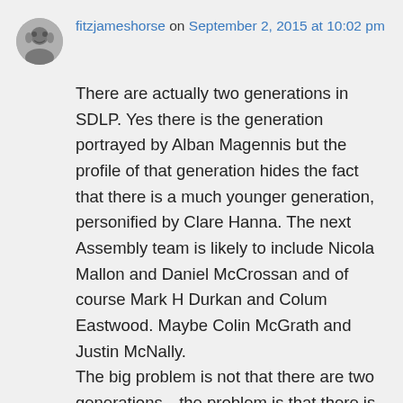fitzjameshorse on September 2, 2015 at 10:02 pm
There are actually two generations in SDLP. Yes there is the generation portrayed by Alban Magennis but the profile of that generation hides the fact that there is a much younger generation, personified by Clare Hanna. The next Assembly team is likely to include Nicola Mallon and Daniel McCrossan and of course Mark H Durkan and Colum Eastwood. Maybe Colin McGrath and Justin McNally.
The big problem is not that there are two generations…the problem is that there is not three generations. There is something